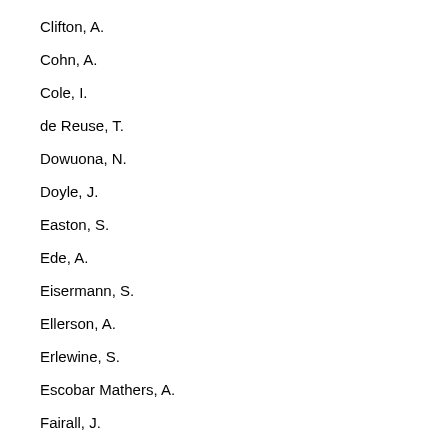Clifton, A.
Cohn, A.
Cole, I.
de Reuse, T.
Dowuona, N.
Doyle, J.
Easton, S.
Ede, A.
Eisermann, S.
Ellerson, A.
Erlewine, S.
Escobar Mathers, A.
Fairall, J.
Falisi, F.
Gayle, N.